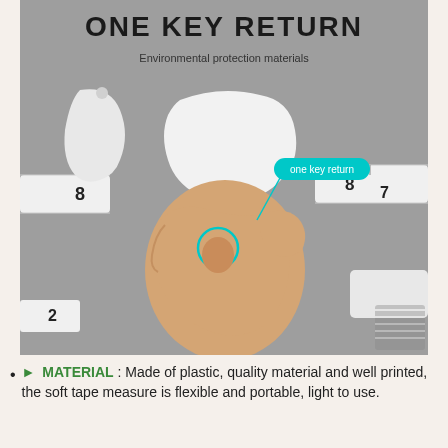[Figure (photo): Product photo of a white retractable tape measure being held in a hand, with the tape extended showing measurement numbers. A teal callout bubble labels 'one key return' with a line pointing to a button. Text overlay reads 'ONE KEY RETURN' and 'Environmental protection materials'.]
► MATERIAL : Made of plastic, quality material and well printed, the soft tape measure is flexible and portable, light to use.